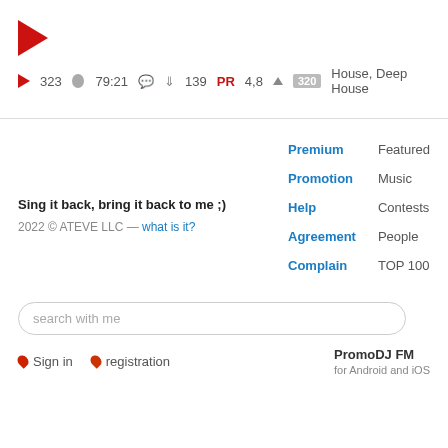[Figure (other): Red play button triangle icon]
▶ 323  🕐 79:21  💬  ⬇ 139  PR 4,8 ▲  320  House, Deep House
Sing it back, bring it back to me ;)
2022 © ATEVE LLC — what is it?
Premium
Promotion
Help
Agreement
Complain
Featured
Music
Contests
People
TOP 100
search with me
Sign in    registration
PromoDJ FM
for Android and iOS